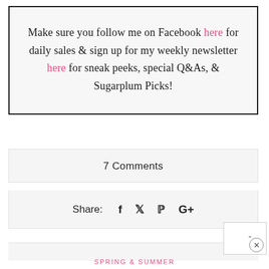Make sure you follow me on Facebook here for daily sales & sign up for my weekly newsletter here for sneak peeks, special Q&As, & Sugarplum Picks!
7 Comments
Share: f [twitter] p G+
SPRING & SUMMER